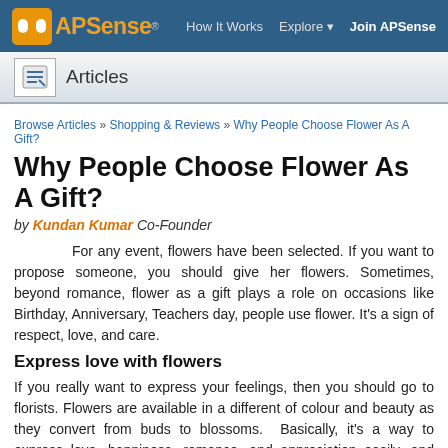APSense | How It Works | Explore | Join APSense
Articles
Browse Articles » Shopping & Reviews » Why People Choose Flower As A Gift?
Why People Choose Flower As A Gift?
by Kundan Kumar Co-Founder
For any event, flowers have been selected. If you want to propose someone, you should give her flowers. Sometimes, beyond romance, flower as a gift plays a role on occasions like Birthday, Anniversary, Teachers day, people use flower. It's a sign of respect, love, and care.
Express love with flowers
If you really want to express your feelings, then you should go to florists. Flowers are available in a different of colour and beauty as they convert from buds to blossoms. Basically, it's a way to express love, happiness, romance, and appreciation easily. Flower carries meaning according to its size, variety, and colour.
There are several florists available in Delhi who de...